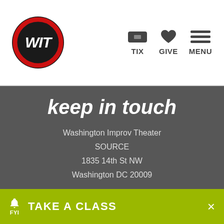[Figure (logo): WIT logo — black circle with red ring and white italic WIT text]
TIX  GIVE  MENU
keep in touch
Washington Improv Theater
SOURCE
1835 14th St NW
Washington DC 20009
202.204.7770
socialize
Facebook
Twitter
🔔 FYI   TAKE A CLASS   ×